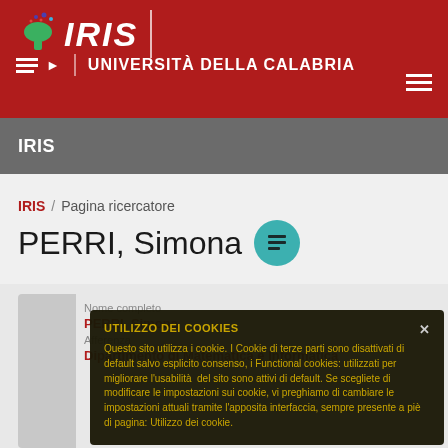IRIS | UNIVERSITÀ DELLA CALABRIA
IRIS
IRIS / Pagina ricercatore
PERRI, Simona
Nome completo
PERRI, Simona
Afferenza
Dipartimento di Matematica e Informatica
UTILIZZO DEI COOKIES
Questo sito utilizza i cookie. I Cookie di terze parti sono disattivati di default salvo esplicito consenso, i Functional cookies: utilizzati per migliorare l'usabilità del sito sono attivi di default. Se scegliete di modificare le impostazioni sui cookie, vi preghiamo di cambiare le impostazioni attuali tramite l'apposita interfaccia, sempre presente a piè di pagina: Utilizzo dei cookie.